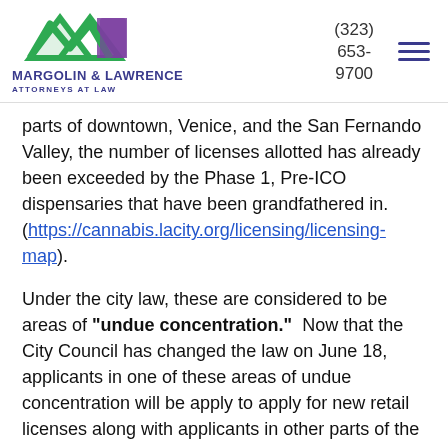MARGOLIN & LAWRENCE ATTORNEYS AT LAW | (323) 653-9700
parts of downtown, Venice, and the San Fernando Valley, the number of licenses allotted has already been exceeded by the Phase 1, Pre-ICO dispensaries that have been grandfathered in. (https://cannabis.lacity.org/licensing/licensing-map).
Under the city law, these are considered to be areas of "undue concentration."  Now that the City Council has changed the law on June 18, applicants in one of these areas of undue concentration will be apply to apply for new retail licenses along with applicants in other parts of the City.
There is one catch.  In order to be issued a storefront license in an area of undue concentration, an